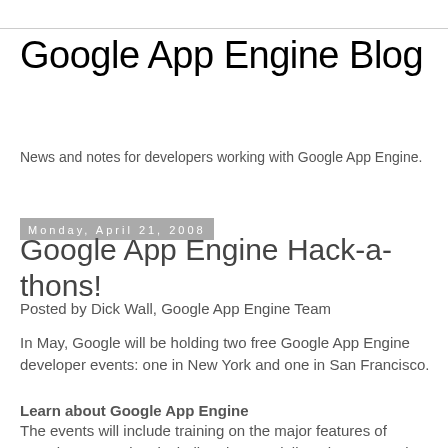Google App Engine Blog
News and notes for developers working with Google App Engine.
Monday, April 21, 2008
Google App Engine Hack-a-thons!
Posted by Dick Wall, Google App Engine Team
In May, Google will be holding two free Google App Engine developer events: one in New York and one in San Francisco.
Learn about Google App Engine
The events will include training on the major features of Google App Engine, including data modeling, the App Engine APIs, some aspects of Django, and how to mashup App Engine with other web services. Google Engineers and